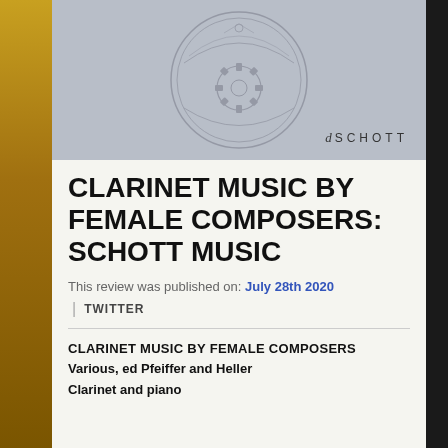[Figure (illustration): Album cover with grey background featuring a circular emblem/seal design with Schott Music publisher logo in the bottom right corner]
CLARINET MUSIC BY FEMALE COMPOSERS: SCHOTT MUSIC
This review was published on: July 28th 2020
| TWITTER
CLARINET MUSIC BY FEMALE COMPOSERS
Various, ed Pfeiffer and Heller
Clarinet and piano